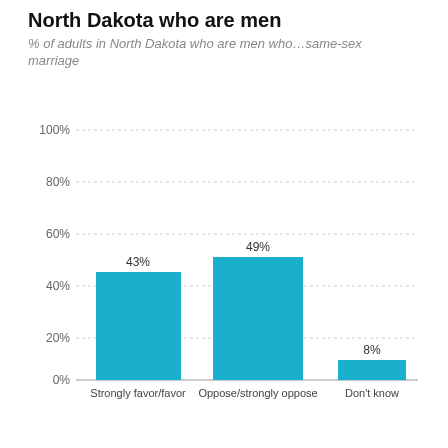North Dakota who are men
% of adults in North Dakota who are men who…same-sex marriage
[Figure (bar-chart): North Dakota who are men]